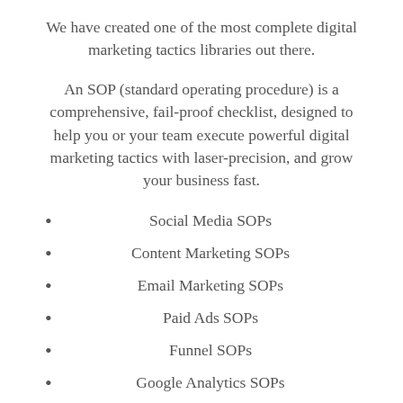We have created one of the most complete digital marketing tactics libraries out there.
An SOP (standard operating procedure) is a comprehensive, fail-proof checklist, designed to help you or your team execute powerful digital marketing tactics with laser-precision, and grow your business fast.
Social Media SOPs
Content Marketing SOPs
Email Marketing SOPs
Paid Ads SOPs
Funnel SOPs
Google Analytics SOPs
SEO SOPs